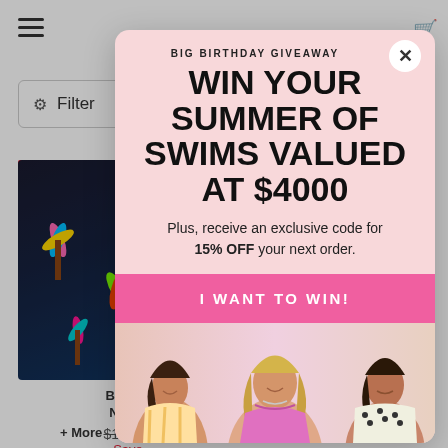[Figure (screenshot): Website background showing a swimwear e-commerce page with hamburger menu, filter bar, and product listing with a black floral swimsuit on sale]
[Figure (screenshot): Modal popup overlay with pink background showing a birthday giveaway promotion]
BIG BIRTHDAY GIVEAWAY
WIN YOUR SUMMER OF SWIMS VALUED AT $4000
Plus, receive an exclusive code for 15% OFF your next order.
I WANT TO WIN!
[Figure (photo): Three women in swimwear posing at the bottom of the modal]